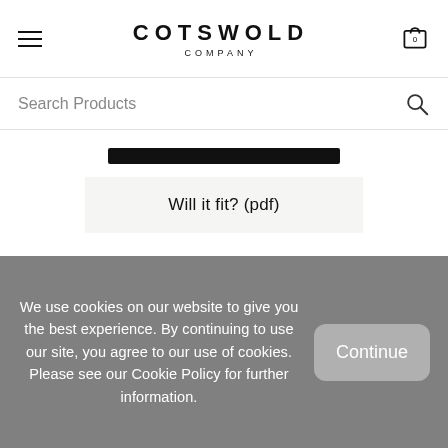COTSWOLD COMPANY
Search Products
[Figure (screenshot): Partial black button at top of product section]
Will it fit? (pdf)
Base & Frame
Fillings
We use cookies on our website to give you the best experience. By continuing to use our site, you agree to our use of cookies. Please see our Cookie Policy for further information.